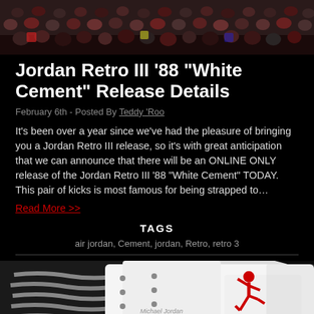[Figure (photo): Crowd of basketball fans in arena, wide angle shot]
Jordan Retro III '88 “White Cement” Release Details
February 6th - Posted By Teddy ‘Roo
It’s been over a year since we’ve had the pleasure of bringing you a Jordan Retro III release, so it’s with great anticipation that we can announce that there will be an ONLINE ONLY release of the Jordan Retro III ’88 “White Cement” TODAY. This pair of kicks is most famous for being strapped to…
Read More >>
TAGS
air jordan, Cement, jordan, Retro, retro 3
[Figure (photo): Close-up of white Jordan Retro III sneaker laces and tongue with Jumpman logo in red]